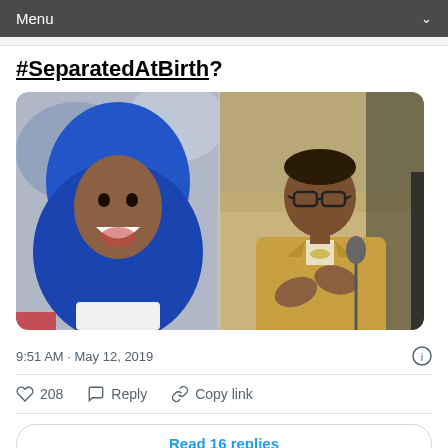Menu
#SeparatedAtBirth?
[Figure (photo): Side-by-side photo comparison: left shows a smiling woman wearing a bright blue hijab and white top; right shows an older man in a tan/beige suit with a bow tie, gesturing with hands near a microphone.]
9:51 AM · May 12, 2019
208   Reply   Copy link
Read 16 replies